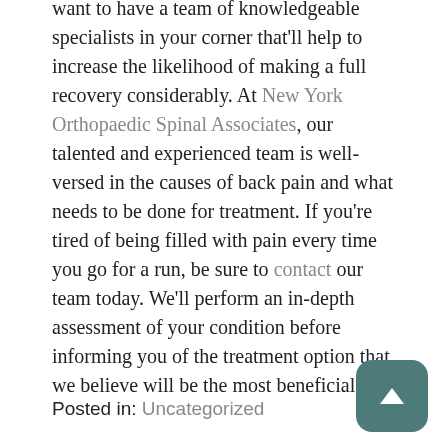want to have a team of knowledgeable specialists in your corner that'll help to increase the likelihood of making a full recovery considerably. At New York Orthopaedic Spinal Associates, our talented and experienced team is well-versed in the causes of back pain and what needs to be done for treatment. If you're tired of being filled with pain every time you go for a run, be sure to contact our team today. We'll perform an in-depth assessment of your condition before informing you of the treatment option that we believe will be the most beneficial!
Posted in: Uncategorized